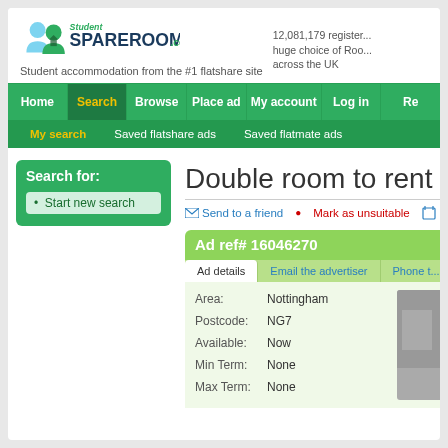[Figure (logo): Student SpareRoom.co.uk logo with two person icons and house icon]
Student accommodation from the #1 flatshare site
12,081,179 register... huge choice of Roo... across the UK
Home | Search | Browse | Place ad | My account | Log in | Re...
My search | Saved flatshare ads | Saved flatmate ads
Search for:
Start new search
Double room to rent
Send to a friend   Mark as unsuitable   Sa...
Ad ref# 16046270
Ad details | Email the advertiser | Phone t...
| Field | Value |
| --- | --- |
| Area: | Nottingham |
| Postcode: | NG7 |
| Available: | Now |
| Min Term: | None |
| Max Term: | None |